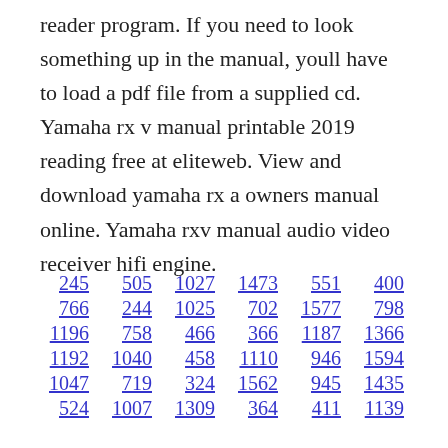reader program. If you need to look something up in the manual, youll have to load a pdf file from a supplied cd. Yamaha rx v manual printable 2019 reading free at eliteweb. View and download yamaha rx a owners manual online. Yamaha rxv manual audio video receiver hifi engine.
245  505  1027  1473  551  400
766  244  1025  702  1577  798
1196  758  466  366  1187  1366
1192  1040  458  1110  946  1594
1047  719  324  1562  945  1435
524  1007  1309  364  411  1139